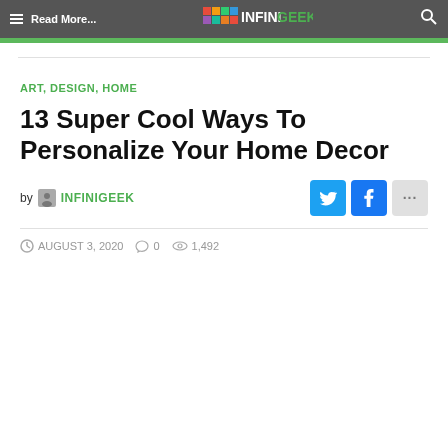Read More... INFINIGEEK
ART, DESIGN, HOME
13 Super Cool Ways To Personalize Your Home Decor
by INFINIGEEK
AUGUST 3, 2020   0   1,492